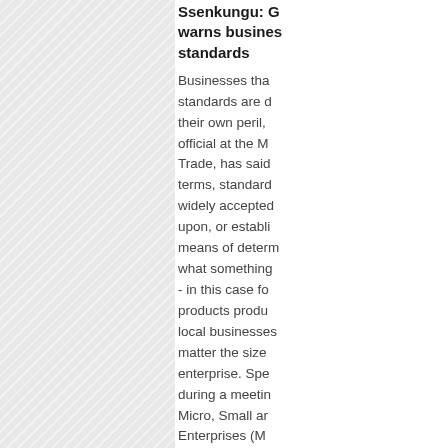[Figure (other): Hatched/diagonal striped gray panel on the left side of the page]
Ssenkungu: G warns businesses standards
Businesses that standards are d their own peril, official at the M Trade, has said terms, standards widely accepted upon, or established means of determining what something - in this case f products produced local businesses matter the size enterprise. Spe during a meeting Micro, Small and Enterprises (M standards, the Trade, Mr Sam